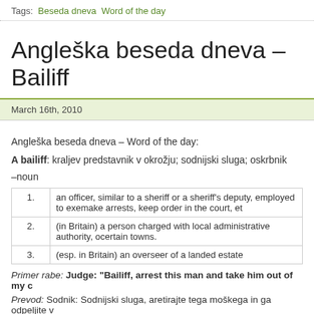Tags: Beseda dneva  Word of the day
Angleška beseda dneva – Bailiff
March 16th, 2010
Angleška beseda dneva – Word of the day:
A bailiff: kraljev predstavnik v okrožju; sodnijski sluga; oskrbnik
–noun
| # | Definition |
| --- | --- |
| 1. | an officer, similar to a sheriff or a sheriff's deputy, employed to execute writs and processes and make arrests, keep order in the court, etc |
| 2. | (in Britain) a person charged with local administrative authority, or representing the lord in certain towns. |
| 3. | (esp. in Britain) an overseer of a landed estate |
Primer rabe: Judge: "Bailiff, arrest this man and take him out of my c..."
Prevod: Sodnik: Sodnijski sluga, aretirajte tega moškega in ga odpeljite v...
Posted in: Angleška beseda dneva